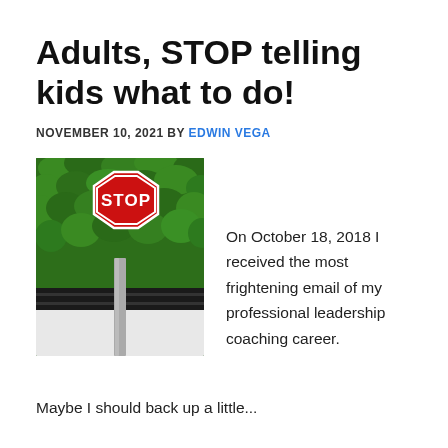Adults, STOP telling kids what to do!
NOVEMBER 10, 2021 BY EDWIN VEGA
[Figure (photo): A red STOP sign in front of a green leafy wall, with a metal pole below it.]
On October 18, 2018 I received the most frightening email of my professional leadership coaching career.
Maybe I should back up a little...